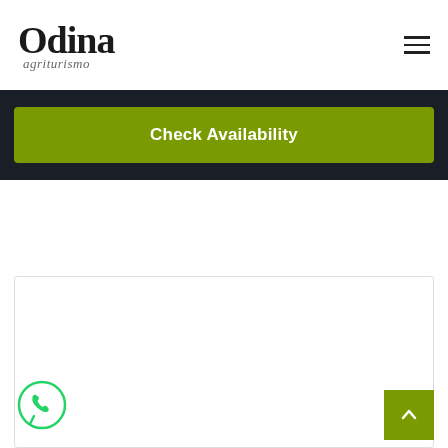Odina agriturismo
Check Availability
[Figure (logo): WhatsApp icon - green circle with phone handset inside speech bubble]
[Figure (other): Back to top button - olive/green square with upward arrow]